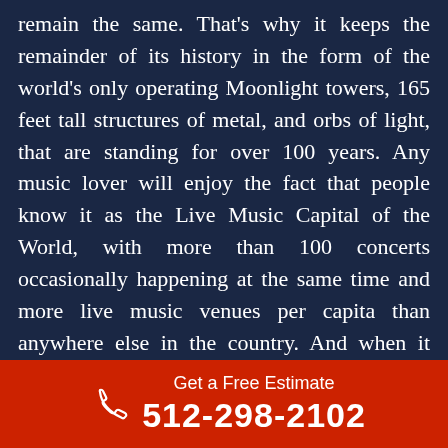remain the same. That's why it keeps the remainder of its history in the form of the world's only operating Moonlight towers, 165 feet tall structures of metal, and orbs of light, that are standing for over 100 years. Any music lover will enjoy the fact that people know it as the Live Music Capital of the World, with more than 100 concerts occasionally happening at the same time and more live music venues per capita than anywhere else in the country. And when it comes to food, although more than 10% of residents are of German ancestry, this city is known for its breakfast tacos. From March to October, it is home to the largest urban bat colony in
Get a Free Estimate
512-298-2102